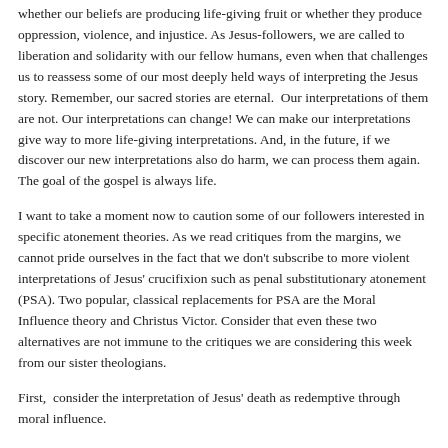whether our beliefs are producing life-giving fruit or whether they produce oppression, violence, and injustice. As Jesus-followers, we are called to liberation and solidarity with our fellow humans, even when that challenges us to reassess some of our most deeply held ways of interpreting the Jesus story. Remember, our sacred stories are eternal.  Our interpretations of them are not. Our interpretations can change! We can make our interpretations give way to more life-giving interpretations. And, in the future, if we discover our new interpretations also do harm, we can process them again. The goal of the gospel is always life.
I want to take a moment now to caution some of our followers interested in specific atonement theories. As we read critiques from the margins, we cannot pride ourselves in the fact that we don't subscribe to more violent interpretations of Jesus' crucifixion such as penal substitutionary atonement (PSA). Two popular, classical replacements for PSA are the Moral Influence theory and Christus Victor. Consider that even these two alternatives are not immune to the critiques we are considering this week from our sister theologians.
First,  consider the interpretation of Jesus' death as redemptive through moral influence.
“The problem with this theology is that it asks people to suffer for the sake of helping evildoers see their evil ways. It puts concern for the evildoers ahead of concern for the victim of evil. It makes victims the servants of the evildoers’ salvation.” (Brown and Parker, For God So Loved the World?: Christianity, Patriarchy and